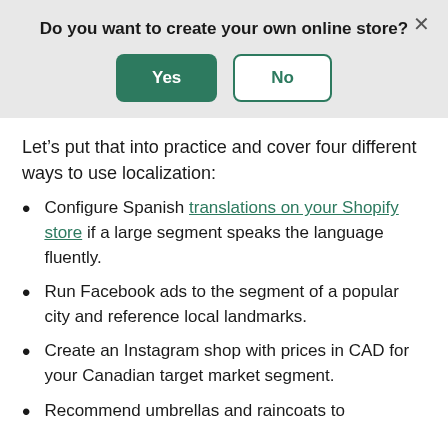[Figure (screenshot): Dialog box with question 'Do you want to create your own online store?' and Yes/No buttons on a grey background, with an X close button.]
Let’s put that into practice and cover four different ways to use localization:
Configure Spanish translations on your Shopify store if a large segment speaks the language fluently.
Run Facebook ads to the segment of a popular city and reference local landmarks.
Create an Instagram shop with prices in CAD for your Canadian target market segment.
Recommend umbrellas and raincoats to